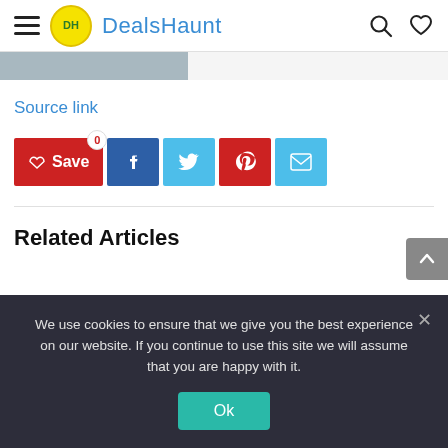DealsHaunt
[Figure (photo): Partial image visible at top of content area]
Source link
[Figure (infographic): Social sharing buttons: Save (0), Facebook, Twitter, Pinterest, Email]
Related Articles
We use cookies to ensure that we give you the best experience on our website. If you continue to use this site we will assume that you are happy with it.